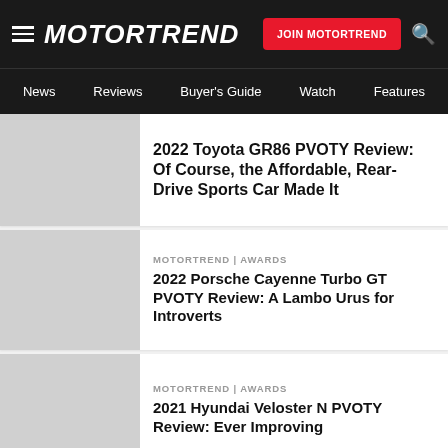MOTORTREND
News | Reviews | Buyer's Guide | Watch | Features
2022 Toyota GR86 PVOTY Review: Of Course, the Affordable, Rear-Drive Sports Car Made It
MOTORTREND | AWARDS
2022 Porsche Cayenne Turbo GT PVOTY Review: A Lambo Urus for Introverts
MOTORTREND | AWARDS
2021 Hyundai Veloster N PVOTY Review: Ever Improving
MOTORTREND | AWARDS
2022 BMW M3 Competition PVOTY Review: Underrated, in More Ways